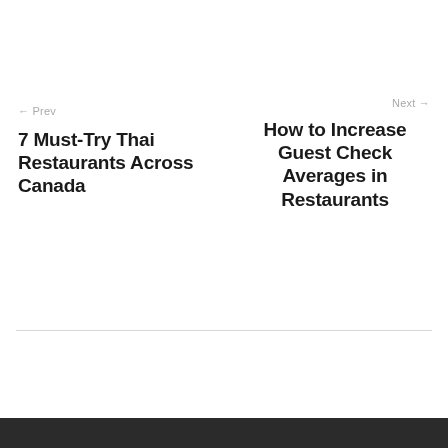← Prev
Next →
7 Must-Try Thai Restaurants Across Canada
How to Increase Guest Check Averages in Restaurants